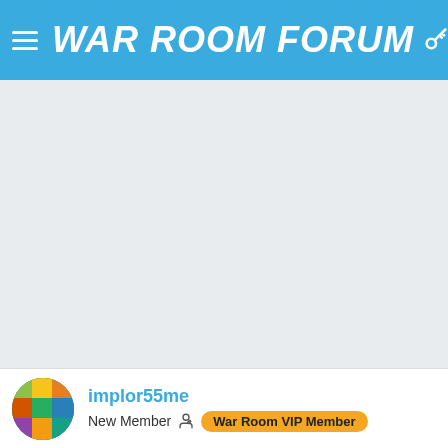WAR ROOM FORUM
[Figure (screenshot): Large blank light gray content area below the header navigation bar]
implor55me
New Member  War Room VIP Member